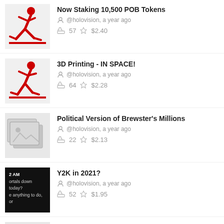Now Staking 10,500 POB Tokens | @holovision, a year ago | 57 $2.40
3D Printing - IN SPACE! | @holovision, a year ago | 64 $2.28
Political Version of Brewster's Millions | @holovision, a year ago | 22 $2.13
Y2K in 2021? | @holovision, a year ago | 52 $1.95
Did the Internet Die Circa 2017?